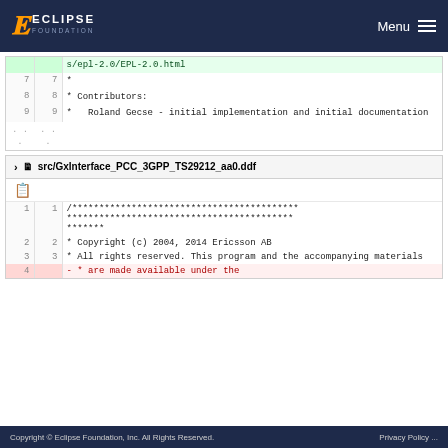ECLIPSE FOUNDATION — Menu
[Figure (screenshot): Code diff view showing lines 7-9 and ellipsis of a file with EPL-2.0 license header, Contributors: Roland Gecse - initial implementation and initial documentation]
src/GxInterface_PCC_3GPP_TS29212_aa0.ddf
[Figure (screenshot): Code diff view showing lines 1-4 of src/GxInterface_PCC_3GPP_TS29212_aa0.ddf with copyright header: Copyright (c) 2004, 2014 Ericsson AB, All rights reserved. This program and the accompanying materials, and line 4 diff showing: - * are made available under the]
Copyright © Eclipse Foundation, Inc. All Rights Reserved.    Privacy Policy ...